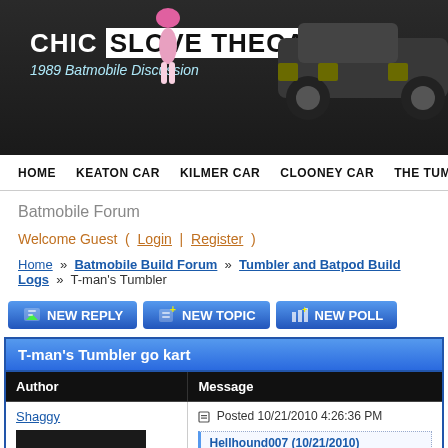[Figure (screenshot): Website banner for chickslovethecar.com showing '1989 Batmobile Discussion' subtitle, anime character, and Tumbler car image on dark background]
HOME  KEATON CAR  KILMER CAR  CLOONEY CAR  THE TUMBLER  BTAS B.
Batmobile Forum
Welcome Guest ( Login | Register )
Home » Batmobile Build Forum » Tumbler and Batpod Build Logs » T-man's Tumbler
[Figure (screenshot): Three forum action buttons: NEW REPLY, NEW TOPIC, NEW POLL with icons]
| T-man's Tumbler go kart |  |
| --- | --- |
| Author | Message |
| Shaggy | Posted 10/21/2010 4:26:36 PM |
| [dark image of tumbler] | Hellhound007 (10/21/2010) |